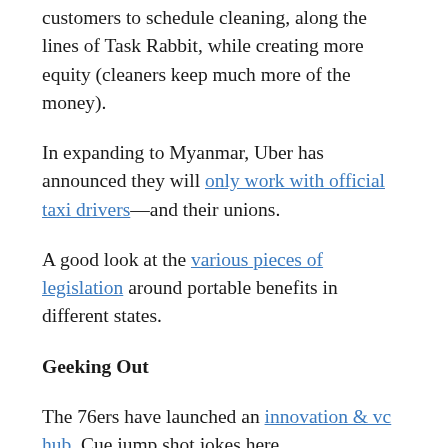customers to schedule cleaning, along the lines of Task Rabbit, while creating more equity (cleaners keep much more of the money).
In expanding to Myanmar, Uber has announced they will only work with official taxi drivers—and their unions.
A good look at the various pieces of legislation around portable benefits in different states.
Geeking Out
The 76ers have launched an innovation & vc hub. Cue jump shot jokes here.
Time looks at the amount of income you need